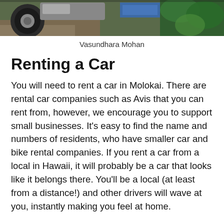[Figure (photo): Partial view of a car tire and wheel on a dirt/gravel path with green vegetation in background and a blue structure visible]
Vasundhara Mohan
Renting a Car
You will need to rent a car in Molokai. There are rental car companies such as Avis that you can rent from, however, we encourage you to support small businesses. It’s easy to find the name and numbers of residents, who have smaller car and bike rental companies. If you rent a car from a local in Hawaii, it will probably be a car that looks like it belongs there. You’ll be a local (at least from a distance!) and other drivers will wave at you, instantly making you feel at home.